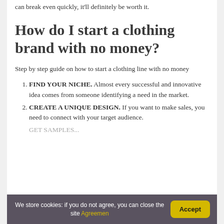can break even quickly, it'll definitely be worth it.
How do I start a clothing brand with no money?
Step by step guide on how to start a clothing line with no money
FIND YOUR NICHE. Almost every successful and innovative idea comes from someone identifying a need in the market.
CREATE A UNIQUE DESIGN. If you want to make sales, you need to connect with your target audience.
We store cookies: if you do not agree, you can close the site Agreemen  Accept